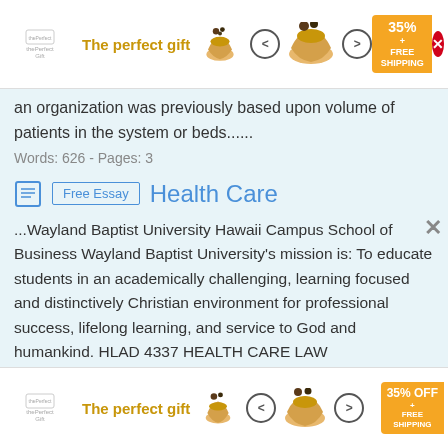[Figure (other): Top advertisement banner: 'The perfect gift' in gold text with bowl/food imagery, navigation arrows, 35% OFF + FREE SHIPPING badge and close button]
an organization was previously based upon volume of patients in the system or beds......
Words: 626 - Pages: 3
Free Essay   Health Care
...Wayland Baptist University Hawaii Campus School of Business Wayland Baptist University's mission is: To educate students in an academically challenging, learning focused and distinctively Christian environment for professional success, lifelong learning, and service to God and humankind. HLAD 4337 HEALTH CARE LAW ADMINISTRATION Winter (October 3, 2011 to December 05, 2011) WBU-Tripler |Instructor: |Glenn K. Yoshida, J.D., MPA| |Office: |Mililani Mauka |Office: Phone: |488-7002 |Cell
[Figure (other): Bottom advertisement banner: 'The perfect gift' in gold text with bowl/food imagery, navigation arrows, 35% OFF + FREE SHIPPING badge]